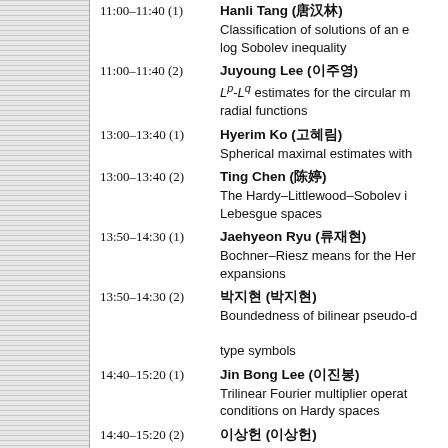11:00–11:40 (1) Hanli Tang (唐汉林) — Classification of solutions of an equation with log Sobolev inequality
11:00–11:40 (2) Juyoung Lee (이주영) — L^p-L^q estimates for the circular maximal function for radial functions
13:00–13:40 (1) Hyerim Ko (고혜림) — Spherical maximal estimates with...
13:00–13:40 (2) Ting Chen (陈婷) — The Hardy–Littlewood–Sobolev inequality in Lebesgue spaces
13:50–14:30 (1) Jaehyeon Ryu (류재현) — Bochner–Riesz means for the Hermite expansions
13:50–14:30 (2) 박지현 (박지현) — Boundedness of bilinear pseudo-differential type symbols
14:40–15:20 (1) Jin Bong Lee (이진봉) — Trilinear Fourier multiplier operators with conditions on Hardy spaces
14:40–15:20 (2) 이상헌 (이상헌)